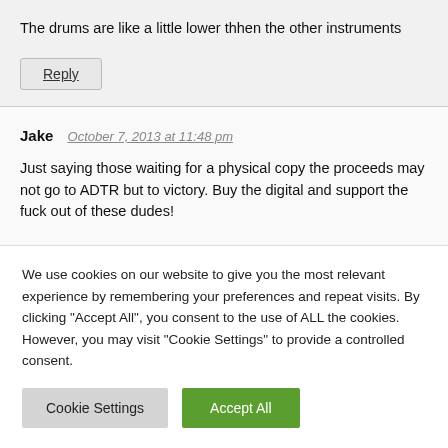The drums are like a little lower thhen the other instruments
Reply
Jake  October 7, 2013 at 11:48 pm
Just saying those waiting for a physical copy the proceeds may not go to ADTR but to victory. Buy the digital and support the fuck out of these dudes!
We use cookies on our website to give you the most relevant experience by remembering your preferences and repeat visits. By clicking "Accept All", you consent to the use of ALL the cookies. However, you may visit "Cookie Settings" to provide a controlled consent.